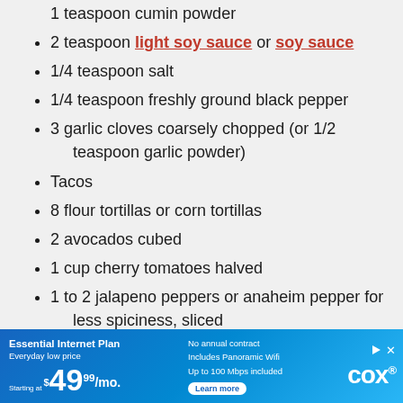1 teaspoon cumin powder (partially visible at top)
2 teaspoon light soy sauce or soy sauce
1/4 teaspoon salt
1/4 teaspoon freshly ground black pepper
3 garlic cloves coarsely chopped (or 1/2 teaspoon garlic powder)
Tacos
8 flour tortillas or corn tortillas
2 avocados cubed
1 cup cherry tomatoes halved
1 to 2 jalapeno peppers or anaheim pepper for less spiciness, sliced
Lime wedges
1/4 cup chopped cilantro
[Figure (infographic): Cox internet advertisement banner. Essential Internet Plan, Everyday low price, Starting at $49.99/mo. No annual contract, Includes Panoramic Wifi, Up to 100 Mbps included. Learn more button. Cox logo.]